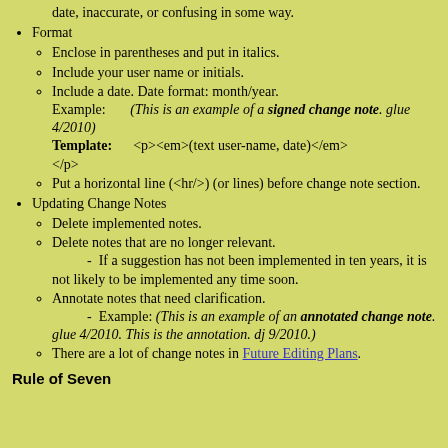Warn the reader that the page content might be out of date, inaccurate, or confusing in some way.
Format
Enclose in parentheses and put in italics.
Include your user name or initials.
Include a date. Date format: month/year. Example: (This is an example of a signed change note. glue 4/2010) Template: <p><em>(text user-name, date)</em></p>
Put a horizontal line (<hr/>) (or lines) before change note section.
Updating Change Notes
Delete implemented notes.
Delete notes that are no longer relevant. - If a suggestion has not been implemented in ten years, it is not likely to be implemented any time soon.
Annotate notes that need clarification. - Example: (This is an example of an annotated change note. glue 4/2010. This is the annotation. dj 9/2010.)
There are a lot of change notes in Future Editing Plans.
Rule of Seven